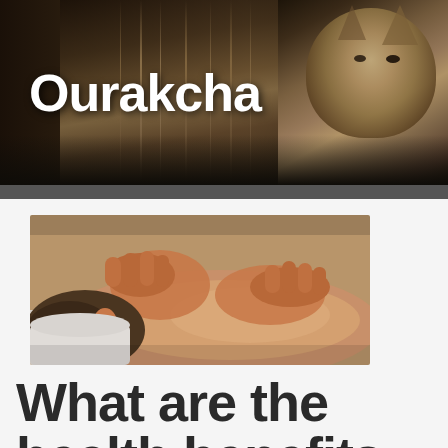Ourakcha
[Figure (photo): A massage therapist working on a person's back/shoulders, close-up of hands performing a massage]
What are the health benefits